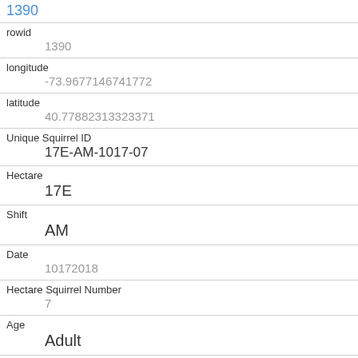1390
rowid
1390
longitude
-73.9677146741772
latitude
40.77882313323371
Unique Squirrel ID
17E-AM-1017-07
Hectare
17E
Shift
AM
Date
10172018
Hectare Squirrel Number
7
Age
Adult
Primary Fur Color
Gray